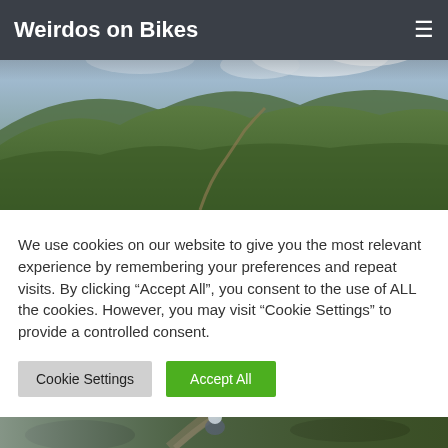Weirdos on Bikes
[Figure (photo): Panoramic landscape photo of green rolling hills with a path/trail visible, cloudy sky in the background]
We use cookies on our website to give you the most relevant experience by remembering your preferences and repeat visits. By clicking “Accept All”, you consent to the use of ALL the cookies. However, you may visit “Cookie Settings” to provide a controlled consent.
Cookie Settings | Accept All
[Figure (photo): Photo of a mountain biker on a gravel trail in hilly terrain, with lens flare and misty hills in the background]